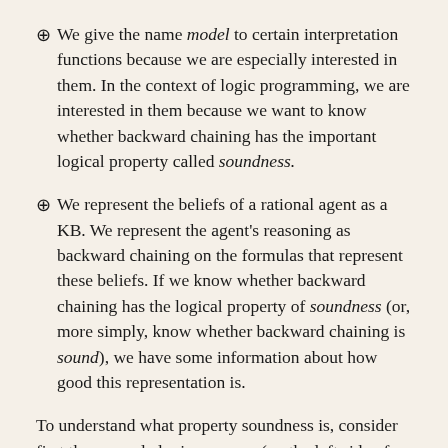⊕ We give the name model to certain interpretation functions because we are especially interested in them. In the context of logic programming, we are interested in them because we want to know whether backward chaining has the important logical property called soundness.
⊕ We represent the beliefs of a rational agent as a KB. We represent the agent's reasoning as backward chaining on the formulas that represent these beliefs. If we know whether backward chaining has the logical property of soundness (or, more simply, know whether backward chaining is sound), we have some information about how good this representation is.
To understand what property soundness is, consider first the example logic program (on the left side of the hashed vertical line) and corresponding formulas in the propositional calculus: